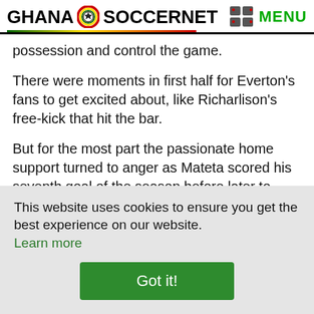GHANA SOCCERNET MENU
possession and control the game.
There were moments in first half for Everton's fans to get excited about, like Richarlison's free-kick that hit the bar.
But for the most part the passionate home support turned to anger as Mateta scored his seventh goal of the season before later...to Balance
This website uses cookies to ensure you get the best experience on our website.
Learn more
Got it!